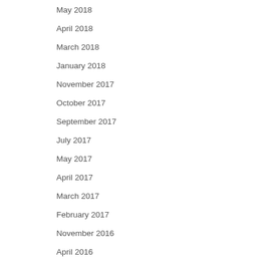May 2018
April 2018
March 2018
January 2018
November 2017
October 2017
September 2017
July 2017
May 2017
April 2017
March 2017
February 2017
November 2016
April 2016